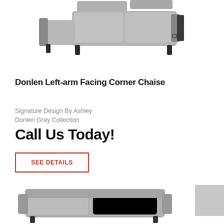[Figure (photo): Gray sectional chaise sofa viewed from above/front, with dark legs, shown partially cropped at top of page]
Donlen Left-arm Facing Corner Chaise
Signature Design By Ashley
Donlen Gray Collection
Call Us Today!
SEE DETAILS
[Figure (photo): Gray sofa/loveseat shown partially at bottom of page]
[Figure (other): Gray color swatch square in bottom right corner]